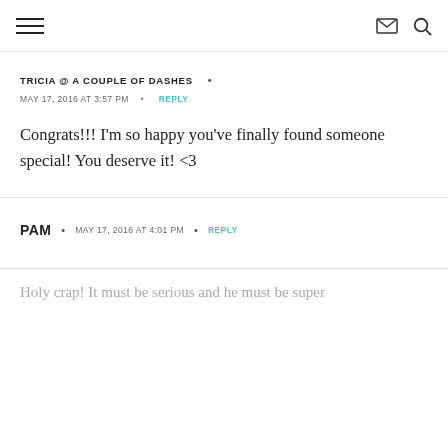Navigation header with hamburger menu, envelope icon, and search icon
TRICIA @ A COUPLE OF DASHES •
MAY 17, 2016 AT 3:57 PM • REPLY
Congrats!!! I'm so happy you've finally found someone special! You deserve it! <3
PAM • MAY 17, 2016 AT 4:01 PM • REPLY
Holy crap! It must be serious and he must be super